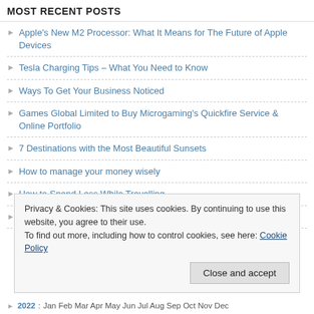MOST RECENT POSTS
Apple's New M2 Processor: What It Means for The Future of Apple Devices
Tesla Charging Tips – What You Need to Know
Ways To Get Your Business Noticed
Games Global Limited to Buy Microgaming's Quickfire Service & Online Portfolio
7 Destinations with the Most Beautiful Sunsets
How to manage your money wisely
How to Spend Less While Travelling
TOP XBOX GAMES FOR GIRLS
Privacy & Cookies: This site uses cookies. By continuing to use this website, you agree to their use.
To find out more, including how to control cookies, see here: Cookie Policy
Close and accept
2022: Jan Feb Mar Apr May Jun Jul Aug Sep Oct Nov Dec